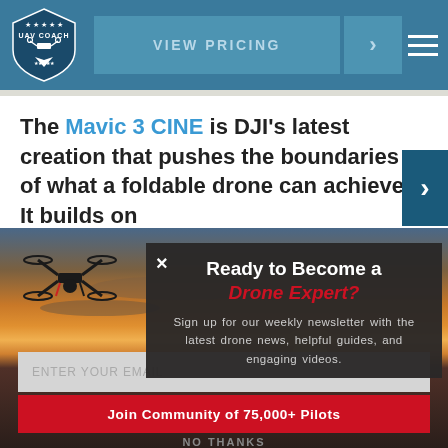[Figure (logo): UAV Coach logo - shield with drone graphic and text]
VIEW PRICING >
The Mavic 3 CINE is DJI's latest creation that pushes the boundaries of what a foldable drone can achieve. It builds on
[Figure (photo): Drone flying against sunset sky over water background image]
Ready to Become a Drone Expert?
Sign up for our weekly newsletter with the latest drone news, helpful guides, and engaging videos.
ENTER YOUR EMAIL
Join Community of 75,000+ Pilots
NO THANKS